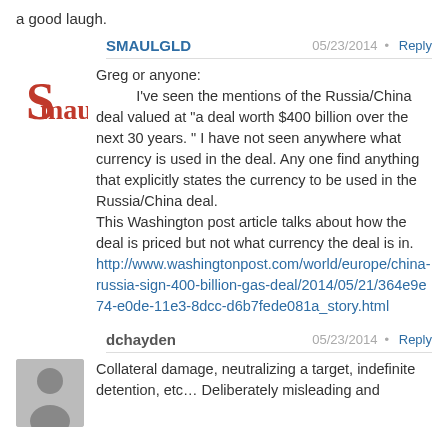a good laugh.
SMAULGLD • 05/23/2014 • Reply
Greg or anyone:
I've seen the mentions of the Russia/China deal valued at "a deal worth $400 billion over the next 30 years. " I have not seen anywhere what currency is used in the deal. Any one find anything that explicitly states the currency to be used in the Russia/China deal.
This Washington post article talks about how the deal is priced but not what currency the deal is in.
http://www.washingtonpost.com/world/europe/china-russia-sign-400-billion-gas-deal/2014/05/21/364e9e74-e0de-11e3-8dcc-d6b7fede081a_story.html
dchayden • 05/23/2014 • Reply
Collateral damage, neutralizing a target, indefinite detention, etc… Deliberately misleading and